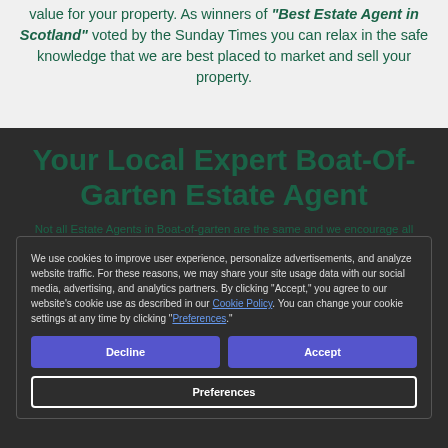value for your property. As winners of "Best Estate Agent in Scotland" voted by the Sunday Times you can relax in the safe knowledge that we are best placed to market and sell your property.
Your Local Expert Boat-Of-Garten Estate Agent
Not all Estate Agents in Boat-of-garten are the same and we encourage all potential clients to take a very close look at what we do differently. By choosing legal to sell your property we will ensure that your property stands out from the crowd by providing comprehensive property advice, with our eye-catching graphics designed sales brochures and high-quality professional photography.
We use cookies to improve user experience, personalize advertisements, and analyze website traffic. For these reasons, we may share your site usage data with our social media, advertising, and analytics partners. By clicking "Accept," you agree to our website's cookie use as described in our Cookie Policy. You can change your cookie settings at any time by clicking "Preferences".